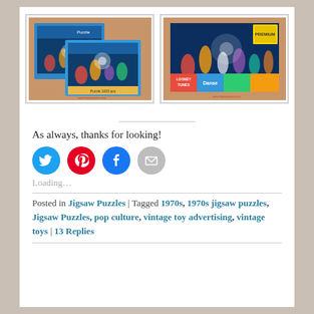[Figure (photo): Two product photos of Looney Tunes jigsaw puzzle boxes side by side]
As always, thanks for looking!
[Figure (infographic): Social share buttons: Twitter (blue), Pinterest (red), Facebook (blue), Email (grey)]
Loading...
Posted in Jigsaw Puzzles | Tagged 1970s, 1970s jigsaw puzzles, Jigsaw Puzzles, pop culture, vintage toy advertising, vintage toys | 13 Replies